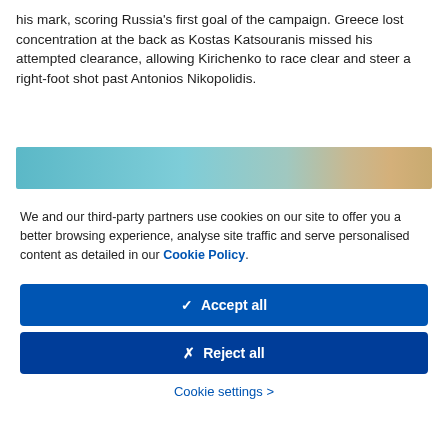his mark, scoring Russia's first goal of the campaign. Greece lost concentration at the back as Kostas Katsouranis missed his attempted clearance, allowing Kirichenko to race clear and steer a right-foot shot past Antonios Nikopolidis.
[Figure (photo): A partial photo strip showing a teal/blue and golden-brown image, likely a sports or event photo.]
We and our third-party partners use cookies on our site to offer you a better browsing experience, analyse site traffic and serve personalised content as detailed in our Cookie Policy.